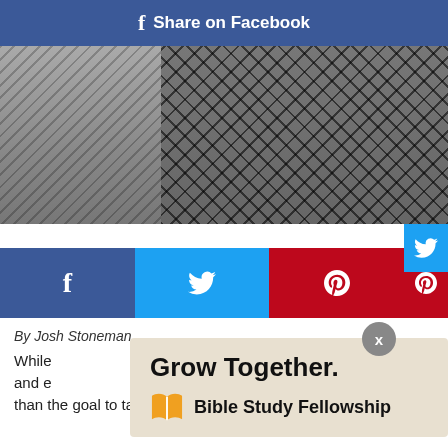f Share on Facebook
[Figure (photo): Black and white photo showing person's legs wearing fishnet stockings, sitting on what appears to be a bench or chair]
[Figure (screenshot): Social media share buttons: Facebook (dark blue), Twitter (light blue), Pinterest (red), and side panel with Facebook and Twitter icons; X close button]
By Josh Stoneman
[Figure (infographic): Advertisement overlay: 'Grow Together. Bible Study Fellowship' with orange book icon]
While [obscured] rest and e[obscured] her than the goal to take pictures around the city and river.